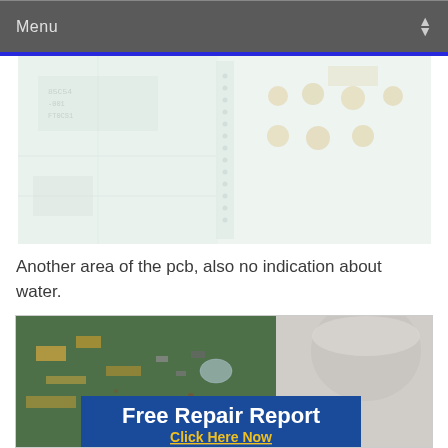Menu
[Figure (photo): Close-up photograph of a PCB (printed circuit board) showing components, chips, and solder joints. The image is washed out/overexposed giving a pale greenish-white tone. No visible water damage indication.]
Another area of the pcb, also no indication about water.
[Figure (photo): Close-up photo of a green PCB with components partially visible. Overlaid with a blue banner reading 'Free Repair Report' in bold white text and 'Click Here Now' in yellow text below it.]